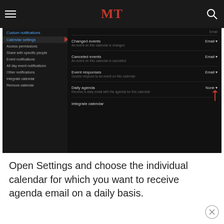MT
[Figure (screenshot): Google Calendar settings screenshot showing dark theme with notification options: Changed events (Email), Canceled events (Email), Event responses (Email), Daily agenda (None) with red arrows pointing to Calendar settings and Daily agenda None option. Integrate calendar option at bottom.]
Open Settings and choose the individual calendar for which you want to receive agenda email on a daily basis.
Add Events to Google Tasks
Google recently added support for its to-do list app called Tasks. There is a new option